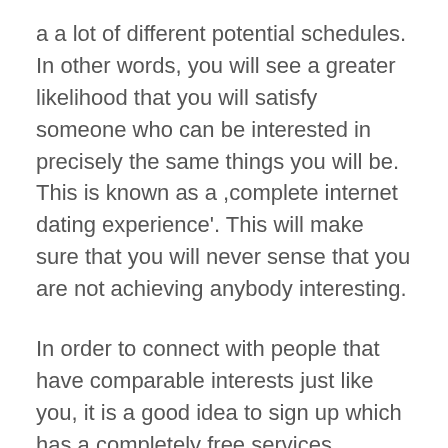a a lot of different potential schedules. In other words, you will see a greater likelihood that you will satisfy someone who can be interested in precisely the same things you will be. This is known as a ,complete internet dating experience'. This will make sure that you will never sense that you are not achieving anybody interesting.
In order to connect with people that have comparable interests just like you, it is a good idea to sign up which has a completely free services. However , there are many people who feel that there is small benefit in signing up with this kind of sites, given that they are completely free. The fact is, the majority of them are free, but they do not give you the opportunity to browse